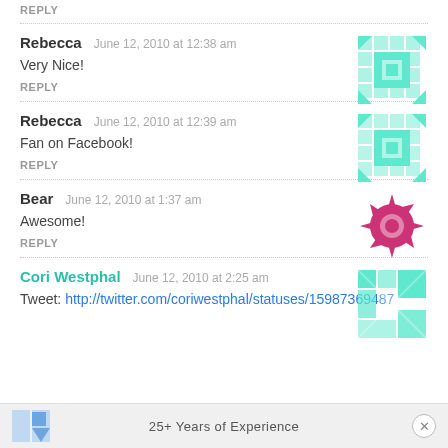REPLY
Rebecca   June 12, 2010 at 12:38 am
Very Nice!
REPLY
Rebecca   June 12, 2010 at 12:39 am
Fan on Facebook!
REPLY
Bear   June 12, 2010 at 1:37 am
Awesome!
REPLY
Cori Westphal   June 12, 2010 at 2:25 am
Tweet: http://twitter.com/coriwestphal/statuses/15987369487
25+ Years of Experience